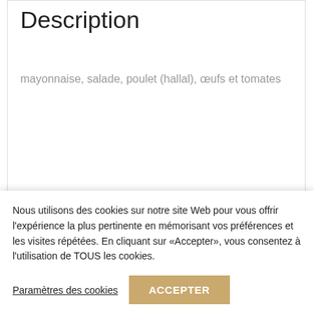Description
mayonnaise, salade, poulet (hallal), œufs et tomates
Produits apparentés
[Figure (other): Empty product card placeholder for related products]
Nous utilisons des cookies sur notre site Web pour vous offrir l'expérience la plus pertinente en mémorisant vos préférences et les visites répétées. En cliquant sur «Accepter», vous consentez à l'utilisation de TOUS les cookies.
Paramètres des cookies
ACCEPTER